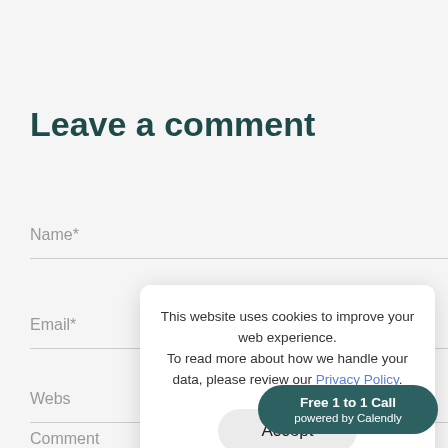Leave a comment
Name*
Email*
Webs
This website uses cookies to improve your web experience.
To read more about how we handle your data, please review our Privacy Policy.
Accept
Comment
Free 1 to 1 Call
powered by Calendly